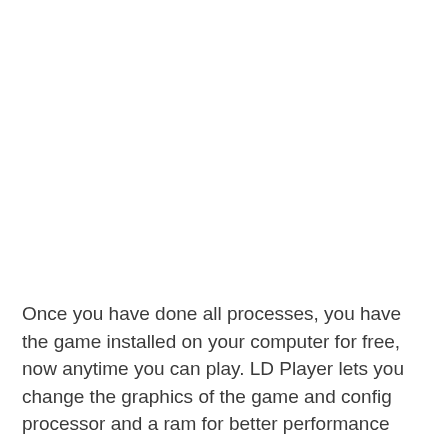Once you have done all processes, you have the game installed on your computer for free, now anytime you can play. LD Player lets you change the graphics of the game and config processor and a ram for better performance